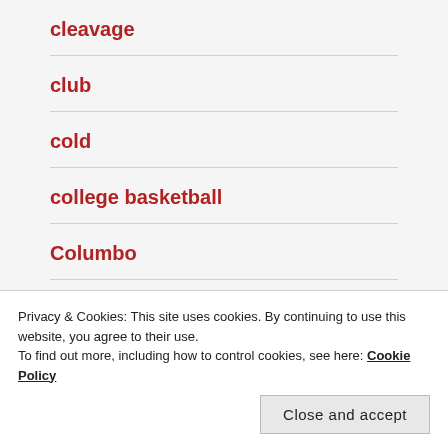cleavage
club
cold
college basketball
Columbo
Columbus Day
Privacy & Cookies: This site uses cookies. By continuing to use this website, you agree to their use.
To find out more, including how to control cookies, see here: Cookie Policy
Close and accept
comedy central